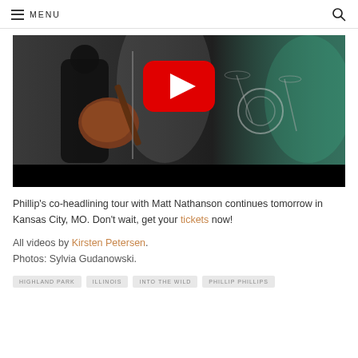MENU
[Figure (screenshot): A musician playing an electric guitar on a dark stage with drum kit in background and stage lighting, overlaid with a YouTube play button icon (red rounded rectangle with white triangle).]
Phillip's co-headlining tour with Matt Nathanson continues tomorrow in Kansas City, MO. Don't wait, get your tickets now!
All videos by Kirsten Petersen.
Photos: Sylvia Gudanowski.
HIGHLAND PARK  ILLINOIS  INTO THE WILD  PHILLIP PHILLIPS